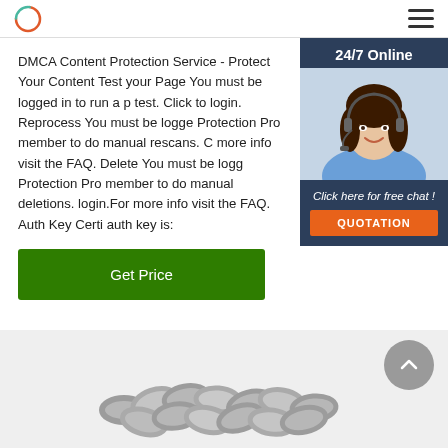Logo and navigation header
DMCA Content Protection Service - Protect Your Content Test your Page You must be logged in to run a page test. Click to login. Reprocess You must be logged in as a Protection Pro member to do manual rescans. Click to login. For more info visit the FAQ. Delete You must be logged in as a Protection Pro member to do manual deletions. Click to login.For more info visit the FAQ. Auth Key Certificate auth key is:
[Figure (photo): Chat widget with woman wearing headset and 24/7 Online header, Click here for free chat text, and QUOTATION button]
Get Price
[Figure (photo): Chain links image at the bottom of the page on a light gray background]